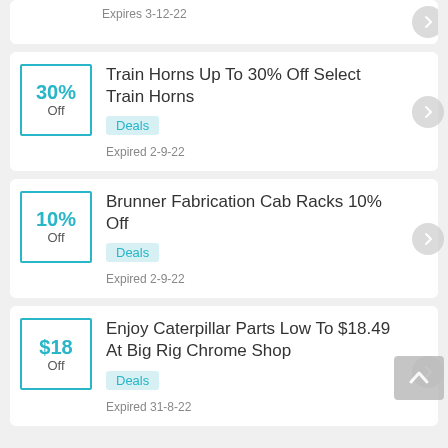Expires 3-12-22
Train Horns Up To 30% Off Select Train Horns | Deals | Expired 2-9-22
Brunner Fabrication Cab Racks 10% Off | Deals | Expired 2-9-22
Enjoy Caterpillar Parts Low To $18.49 At Big Rig Chrome Shop | Deals | Expired 31-8-22